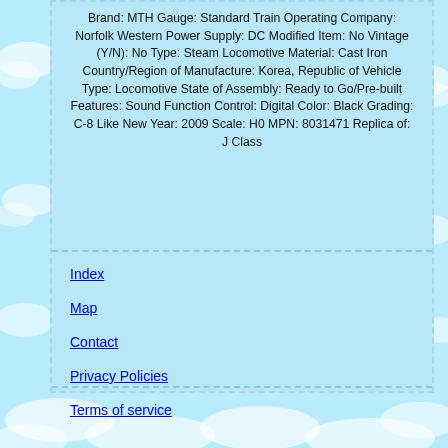Brand: MTH Gauge: Standard Train Operating Company: Norfolk Western Power Supply: DC Modified Item: No Vintage (Y/N): No Type: Steam Locomotive Material: Cast Iron Country/Region of Manufacture: Korea, Republic of Vehicle Type: Locomotive State of Assembly: Ready to Go/Pre-built Features: Sound Function Control: Digital Color: Black Grading: C-8 Like New Year: 2009 Scale: H0 MPN: 8031471 Replica of: J Class
Index
Map
Contact
Privacy Policies
Terms of service